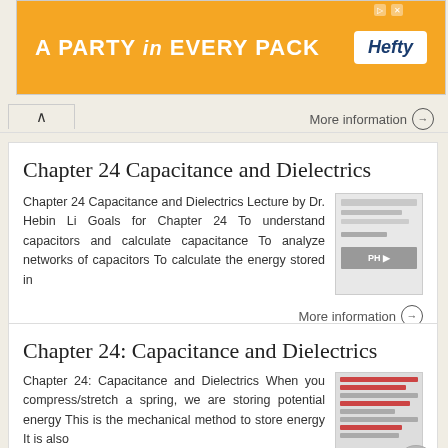[Figure (other): Orange advertisement banner: 'A PARTY in EVERY PACK' with Hefty logo in white box]
More information →
Chapter 24 Capacitance and Dielectrics
Chapter 24 Capacitance and Dielectrics Lecture by Dr. Hebin Li Goals for Chapter 24 To understand capacitors and calculate capacitance To analyze networks of capacitors To calculate the energy stored in
More information →
Chapter 24: Capacitance and Dielectrics
Chapter 24: Capacitance and Dielectrics When you compress/stretch a spring, we are storing potential energy This is the mechanical method to store energy It is also